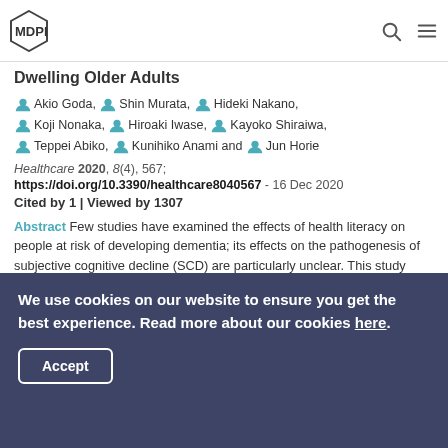MDPI [logo] [search icon] [menu icon]
...Dwelling Older Adults
by Akio Goda, Shin Murata, Hideki Nakano, Koji Nonaka, Hiroaki Iwase, Kayoko Shiraiwa, Teppei Abiko, Kunihiko Anami and Jun Horie
Healthcare 2020, 8(4), 567;
https://doi.org/10.3390/healthcare8040567 - 16 Dec 2020
Cited by 1 | Viewed by 1307
Abstract Few studies have examined the effects of health literacy on people at risk of developing dementia; its effects on the pathogenesis of subjective cognitive decline (SCD) are particularly unclear. This study aimed to clarify the relationship between health literacy and SCD in a [...] Read more.
► Show Figures
We use cookies on our website to ensure you get the best experience. Read more about our cookies here.
Accept